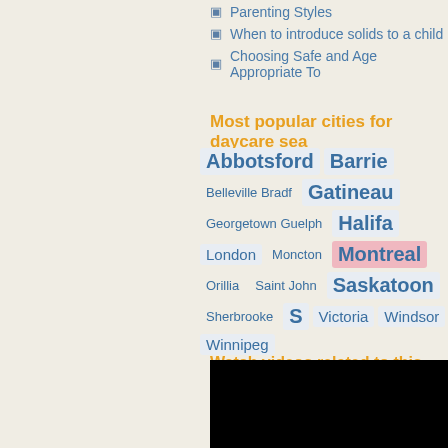Parenting Styles
When to introduce solids to a child
Choosing Safe and Age Appropriate To...
Most popular cities for daycare sea...
Abbotsford  Barrie  Belleville  Bradf...  Gatineau  Georgetown  Guelph  Halifa...  London  Moncton  Montreal  Orillia...  Saint John  Saskatoon  Sherbrooke  S...  Victoria  Windsor  Winnipeg
Watch videos related to this article
[Figure (screenshot): Black video player area]